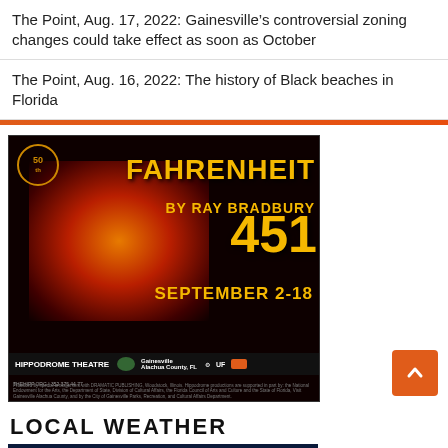The Point, Aug. 17, 2022: Gainesville’s controversial zoning changes could take effect as soon as October
The Point, Aug. 16, 2022: The history of Black beaches in Florida
[Figure (illustration): Advertisement for Hippodrome Theatre production of Fahrenheit 451 by Ray Bradbury, September 2-18. Dark background with burning books and large yellow text. Logos for Hippodrome Theatre, Gainesville, UF, and other sponsors at bottom.]
LOCAL WEATHER
[Figure (screenshot): Ben Hill Griffin Stadium Camera - weather camera image preview with dark blue header bar]